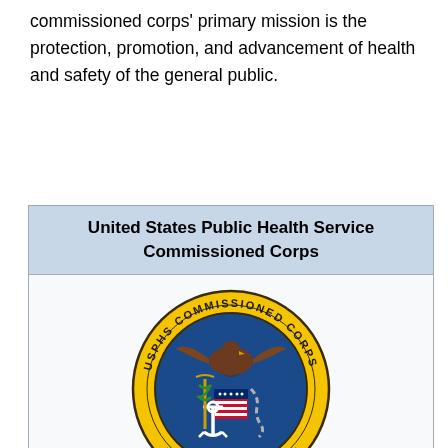commissioned corps' primary mission is the protection, promotion, and advancement of health and safety of the general public.
United States Public Health Service Commissioned Corps
[Figure (illustration): USPHS Commissioned Corps emblem — a circular seal with yellow/gold outer ring inscribed 'USPHS COMMISSIONED CORPS', blue inner field with an eagle, caduceus, anchor, shield with stars and stripes, chain, and the year 1889 at bottom with two stars.]
USPHS Commissioned Corps emblem, which was fashioned after the Corps' official seal
| Founded |  |
| --- | --- |
| Founded | 4 January 1889[1] |